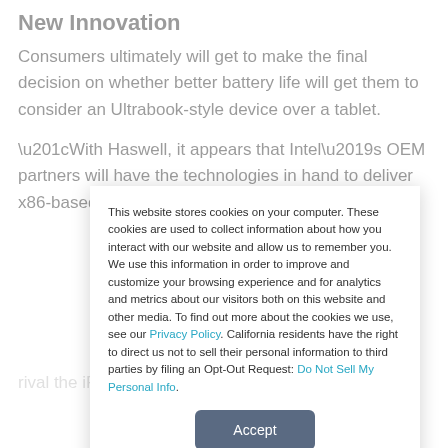New Innovation
Consumers ultimately will get to make the final decision on whether better battery life will get them to consider an Ultrabook-style device over a tablet.
“With Haswell, it appears that Intel’s OEM partners will have the technologies in hand to deliver x86-based products that...
This website stores cookies on your computer. These cookies are used to collect information about how you interact with our website and allow us to remember you. We use this information in order to improve and customize your browsing experience and for analytics and metrics about our visitors both on this website and other media. To find out more about the cookies we use, see our Privacy Policy. California residents have the right to direct us not to sell their personal information to third parties by filing an Opt-Out Request: Do Not Sell My Personal Info.